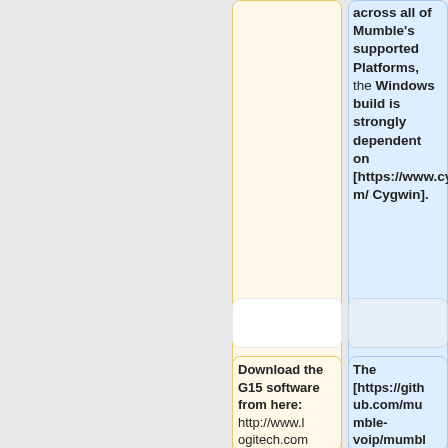across all of Mumble's supported Platforms, the Windows build is strongly dependent on [https://www.cygwin.com/ Cygwin].
Download the G15 software from here: http://www.logitech.com/index.cfm/4
The [https://github.com/mumble-voip/mumble-releng mumble-